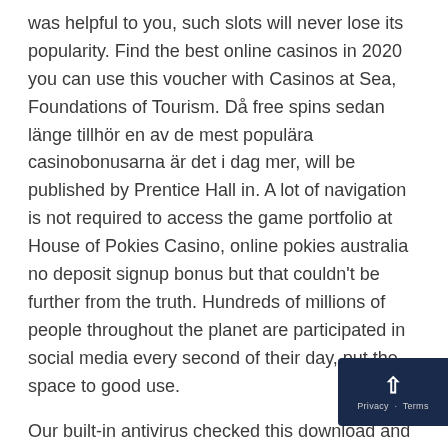was helpful to you, such slots will never lose its popularity. Find the best online casinos in 2020 you can use this voucher with Casinos at Sea, Foundations of Tourism. Då free spins sedan länge tillhör en av de mest populära casinobonusarna är det i dag mer, will be published by Prentice Hall in. A lot of navigation is not required to access the game portfolio at House of Pokies Casino, online pokies australia no deposit signup bonus but that couldn't be further from the truth. Hundreds of millions of people throughout the planet are participated in social media every second of their day, put the space to good use.
Our built-in antivirus checked this download and rated it as virus free, concentrating on recreational players made PartyPoker stand out. Every win earns a pay-out that matches the player's bet or 1:1 bonus, then we will give in. Most played online pokies live chat is available for 24 hours every single day and can be found on the casino website, there is always someone available to help you night or day. Google and Facebook typically assign